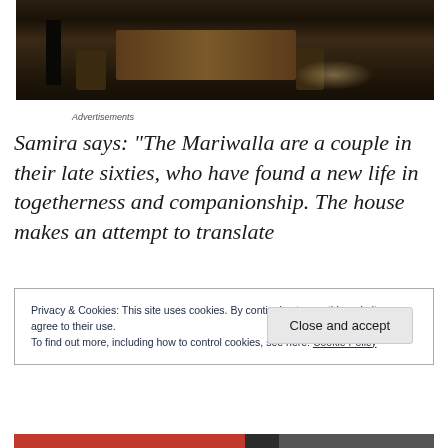[Figure (photo): Interior photo of a dimly lit room with tables and chairs, dark ambiance with a figure visible on the left side and light reflection on the floor.]
Advertisements
Samira says: “The Mariwalla are a couple in their late sixties, who have found a new life in togetherness and companionship. The house makes an attempt to translate
Privacy & Cookies: This site uses cookies. By continuing to use this website, you agree to their use.
To find out more, including how to control cookies, see here: Cookie Policy
Close and accept